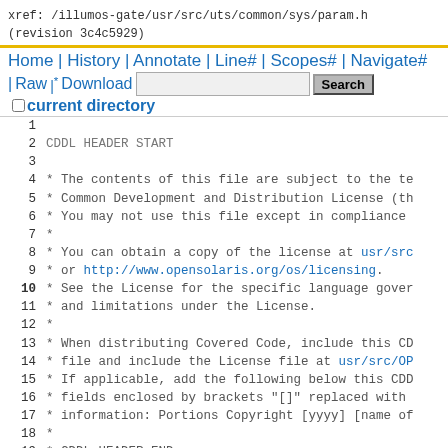xref: /illumos-gate/usr/src/uts/common/sys/param.h
(revision 3c4c5929)
Home | History | Annotate | Line# | Scopes# | Navigate# | Raw | Download  [search box] Search  current directory
1
2   CDDL HEADER START
3
4   * The contents of this file are subject to the te
5   * Common Development and Distribution License (th
6   * You may not use this file except in compliance
7   *
8   * You can obtain a copy of the license at usr/src
9   * or http://www.opensolaris.org/os/licensing.
10  * See the License for the specific language gover
11  * and limitations under the License.
12  *
13  * When distributing Covered Code, include this CD
14  * file and include the License file at usr/src/OP
15  * If applicable, add the following below this CDD
16  * fields enclosed by brackets "[]" replaced with
17  * information: Portions Copyright [yyyy] [name of
18  *
19  * CDDL HEADER END
20  */
21
22  /*
23  * Copyright 2014 Nexenta Systems, Inc.  All right
24  * Copyright (c) 1998, 2010, Oracle and/or its aff
25  */